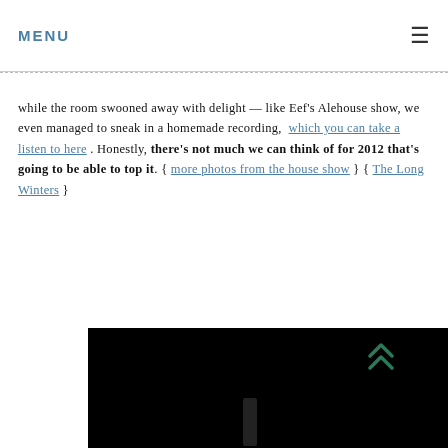MENU
while the room swooned away with delight — like Eef's Alehouse show, we even managed to sneak in a homemade recording,  which you can take a listen to here . Honestly, there's not much we can think of for 2012 that's going to be able to top it. { more photos from the house show } { The Long Winters }
[Figure (photo): Dark photo at bottom right, partially visible, with a dark teal double chevron (up arrow) overlay in the upper right corner of the photo area.]